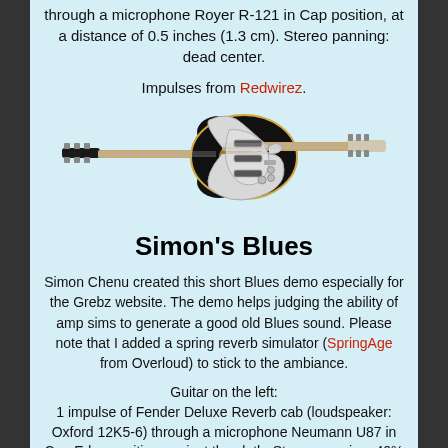through a microphone Royer R-121 in Cap position, at a distance of 0.5 inches (1.3 cm). Stereo panning: dead center.
Impulses from Redwirez.
[Figure (illustration): Two electric guitars: a black Les Paul style guitar on the left and a silver/white Stratocaster style guitar on the right, overlapping.]
Simon's Blues
Simon Chenu created this short Blues demo especially for the Grebz website. The demo helps judging the ability of amp sims to generate a good old Blues sound. Please note that I added a spring reverb simulator (SpringAge from Overloud) to stick to the ambiance.
Guitar on the left:
1 impulse of Fender Deluxe Reverb cab (loudspeaker: Oxford 12K5-6) through a microphone Neumann U87 in Cap Edge position against the cloth. Stereo panning: 40% left.
1 impulse of Fender Deluxe Reverb cab (loudspeaker: